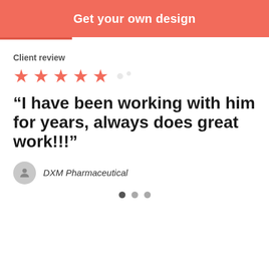Get your own design
Client review
[Figure (other): Five red star rating icons]
“I have been working with him for years, always does great work!!!”
DXM Pharmaceutical
[Figure (other): Three pagination dots, first dot active]